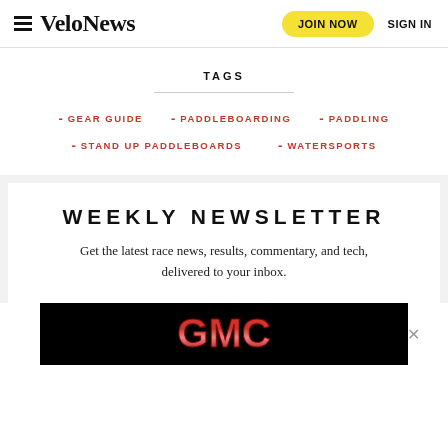VeloNews | JOIN NOW | SIGN IN
TAGS
GEAR GUIDE
PADDLEBOARDING
PADDLING
STAND UP PADDLEBOARDS
WATERSPORTS
WEEKLY NEWSLETTER
Get the latest race news, results, commentary, and tech, delivered to your inbox.
[Figure (logo): GMC logo advertisement banner on black background]